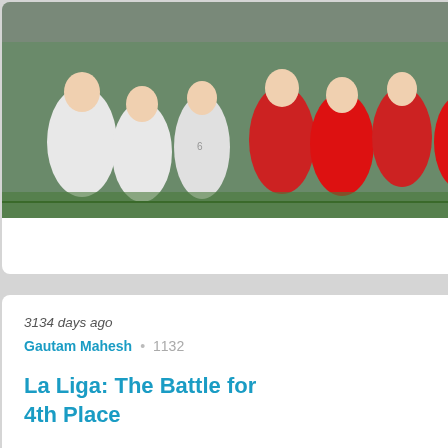[Figure (photo): Football match photo showing players in white and red jerseys in action]
for How Long?
3134 days ago
Gautam Mahesh • 1132
La Liga: The Battle for 4th Place
[Figure (logo): LFP La Liga logo with colorful circular emblem and stylized 'la liga' text]